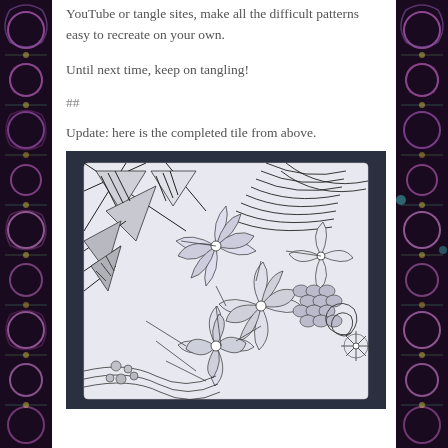YouTube or tangle sites, make all the difficult patterns easy to recreate on your own.
Until next time, keep on tangling!
##
Update: here is the completed tile from above.
[Figure (photo): A completed Zentangle tile artwork placed on dark background, showing intricate patterns of interlocking geometric and organic designs in black and white.]